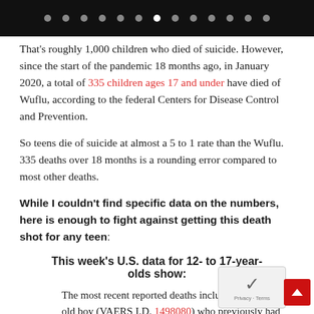Navigation dots bar
That's roughly 1,000 children who died of suicide. However, since the start of the pandemic 18 months ago, in January 2020, a total of 335 children ages 17 and under have died of Wuflu, according to the federal Centers for Disease Control and Prevention.
So teens die of suicide at almost a 5 to 1 rate than the Wuflu. 335 deaths over 18 months is a rounding error compared to most other deaths.
While I couldn't find specific data on the numbers, here is enough to fight against getting this death shot for any teen:
This week's U.S. data for 12- to 17-year-olds show:
The most recent reported deaths include a 15-year-old boy (VAERS I.D. 1498080) who previously had COVID,